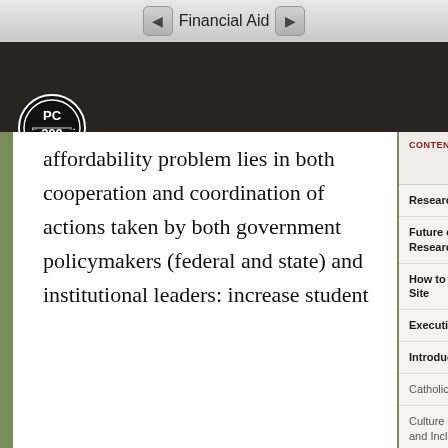Financial Aid
[Figure (logo): PC 200 circular logo with arrows, white on black background]
affordability problem lies in both cooperation and coordination of actions taken by both government policymakers (federal and state) and institutional leaders: increase student
Research Team Blog
Future of Higher Education Research Team Report
How to Engage With This Site
Executive Summary
Introduction
Catholic Dominican Identity
Culture of Diversity, Equity, and Inclusion
Student Development